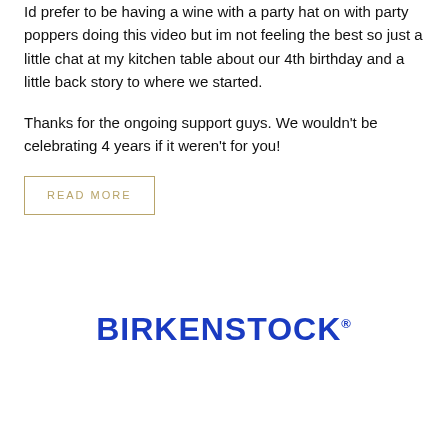Id prefer to be having a wine with a party hat on with party poppers doing this video but im not feeling the best so just a little chat at my kitchen table about our 4th birthday and a little back story to where we started.
Thanks for the ongoing support guys. We wouldn't be celebrating 4 years if it weren't for you!
READ MORE
[Figure (logo): BIRKENSTOCK logo in bold blue uppercase letters with registered trademark symbol]